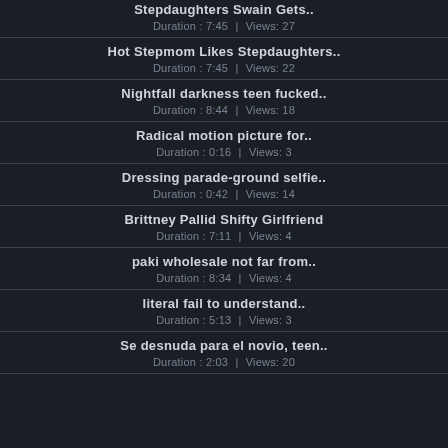Stepdaughters Swain Gets.. | Duration : 7:45 | Views: 27
Hot Stepmom Likes Stepdaughters.. | Duration : 7:45 | Views: 22
Nightfall darkness teen fucked.. | Duration : 8:44 | Views: 18
Radical motion picture for.. | Duration : 0:16 | Views: 3
Dressing parade-ground selfie.. | Duration : 0:42 | Views: 14
Brittney Pallid Shifty Girlfriend | Duration : 7:11 | Views: 4
paki wholesale not far from.. | Duration : 8:34 | Views: 4
literal fail to understand.. | Duration : 5:13 | Views: 3
Se desnuda para el novio, teen.. | Duration : 2:03 | Views: 20